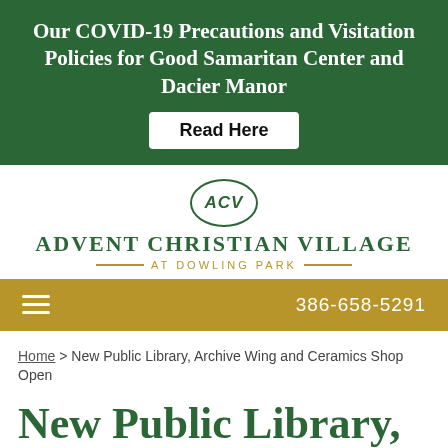Our COVID-19 Precautions and Visitation Policies for Good Samaritan Center and Dacier Manor
Read Here
[Figure (logo): Advent Christian Village at Dowling Park logo: oval with ACV text, organization name in dark green serif font, gold decorative lines with AT DOWLING PARK subtitle]
386-658-5291
Home > New Public Library, Archive Wing and Ceramics Shop Open
New Public Library, Archive Wing and